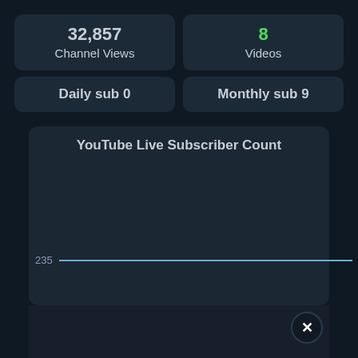32,857
Channel Views
8
Videos
Daily sub 0
Monthly sub 9
[Figure (line-chart): YouTube Live Subscriber Count]